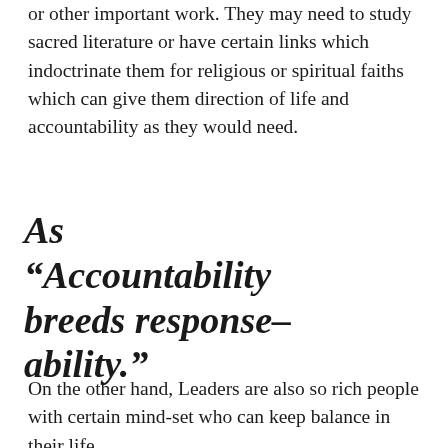or other important work. They may need to study sacred literature or have certain links which indoctrinate them for religious or spiritual faiths which can give them direction of life and accountability as they would need.
As “Accountability breeds response-ability.”
On the other hand, Leaders are also so rich people with certain mind-set who can keep balance in their life,